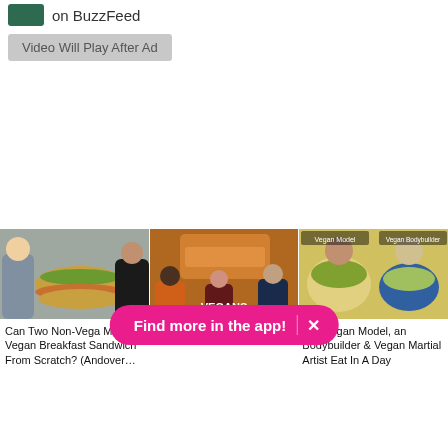on BuzzFeed
Video Will Play After Ad
[Figure (photo): Three video thumbnails side by side: left shows two people with a large sandwich, center shows three people with 'VEGANS' text overlay, right shows women with food bowls and text 'Vegan Model' 'Vegan Bodybuilder']
Find more in the app!
Can Two Non-Vegan Make A Vegan Breakfast Sandwich From Scratch? (Andover...
Can You Make Vegan Cheese Without A Recipe?
What A Vegan Model, Vegan Bodybuilder & Vegan Martial Artist Eat In A Day